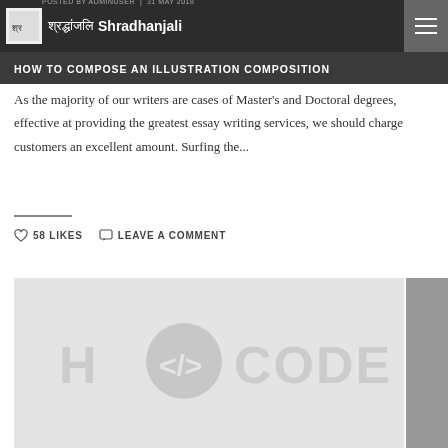POSTED BY ADMINUSER | 31 MAY 2018
HOW TO COMPOSE AN ILLUSTRATION COMPOSITION
As the majority of our writers are cases of Master's and Doctoral degrees, effective at providing the greatest essay writing services, we should charge customers an excellent amount. Surfing the...
58 LIKES   LEAVE A COMMENT
[Figure (illustration): HCode logo with angle brackets and 'H </>CODE' text watermark on light gray background]